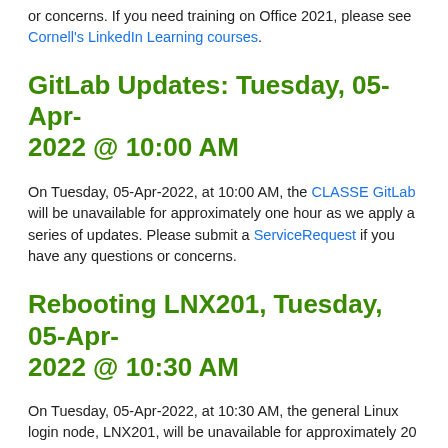or concerns. If you need training on Office 2021, please see Cornell's LinkedIn Learning courses.
GitLab Updates: Tuesday, 05-Apr-2022 @ 10:00 AM
On Tuesday, 05-Apr-2022, at 10:00 AM, the CLASSE GitLab will be unavailable for approximately one hour as we apply a series of updates. Please submit a ServiceRequest if you have any questions or concerns.
Rebooting LNX201, Tuesday, 05-Apr-2022 @ 10:30 AM
On Tuesday, 05-Apr-2022, at 10:30 AM, the general Linux login node, LNX201, will be unavailable for approximately 20 minutes while it is rebooted. Please log out of your LNX201 sessions before 10:30 AM.
Reboot WinApp2: Tuesday, 05-Apr-